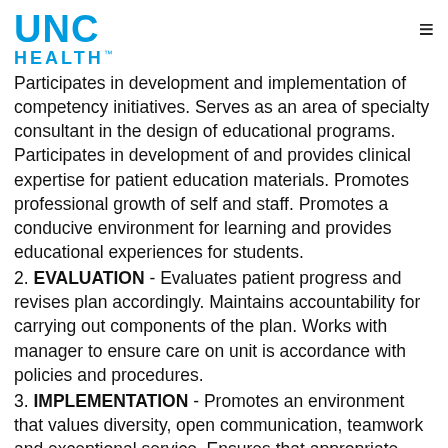UNC HEALTH
Participates in development and implementation of competency initiatives. Serves as an area of specialty consultant in the design of educational programs. Participates in development of and provides clinical expertise for patient education materials. Promotes professional growth of self and staff. Promotes a conducive environment for learning and provides educational experiences for students.
2. EVALUATION - Evaluates patient progress and revises plan accordingly. Maintains accountability for carrying out components of the plan. Works with manager to ensure care on unit is accordance with policies and procedures.
3. IMPLEMENTATION - Promotes an environment that values diversity, open communication, teamwork and exceptional service. Ensures that appropriate care and services are available to